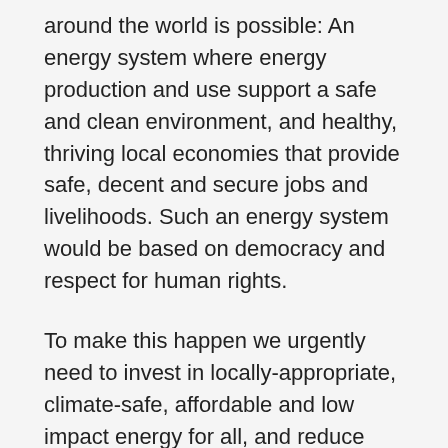around the world is possible: An energy system where energy production and use support a safe and clean environment, and healthy, thriving local economies that provide safe, decent and secure jobs and livelihoods. Such an energy system would be based on democracy and respect for human rights.
To make this happen we urgently need to invest in locally-appropriate, climate-safe, affordable and low impact energy for all, and reduce energy dependence so that people don’t need much energy to meet their basic needs and live a good life.
We also need to end new destructive energy projects and phase out existing destructive energy sources and we need to tackle the trade and investment rules that prioritise corporations’ needs over those of people and the environment.